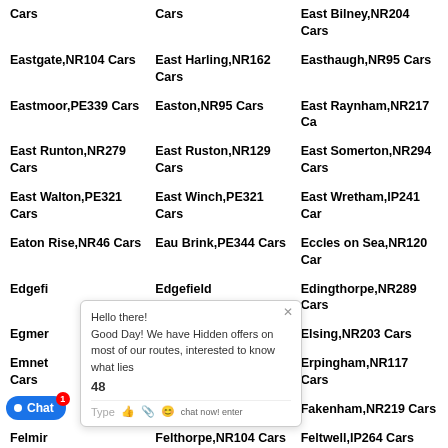Cars
Cars
East Bilney,NR204 Cars
Eastgate,NR104 Cars
East Harling,NR162 Cars
Easthaugh,NR95 Cars
Eastmoor,PE339 Cars
Easton,NR95 Cars
East Raynham,NR217 Cars
East Runton,NR279 Cars
East Ruston,NR129 Cars
East Somerton,NR294 Cars
East Walton,PE321 Cars
East Winch,PE321 Cars
East Wretham,IP241 Cars
Eaton Rise,NR46 Cars
Eau Brink,PE344 Cars
Eccles on Sea,NR120 Cars
Edgefield...
Edgefield Street,NR242 Cars
Edingthorpe,NR289 Cars
Egmer...
Ellingham,NR352 Cars
Elsing,NR203 Cars
Emnet... Cars
Emorsgate,PE344 Cars
Erpingham,NR117 Cars
Fair Gr... Cars
Fairstead,PE304 Cars
Fakenham,NR219 Cars
Felmir... Cars
Felthorpe,NR104 Cars
Feltwell,IP264 Cars
Fen Street,NR171 Cars
Fen Street,IP222 Cars
Fersfield,IP222 Cars